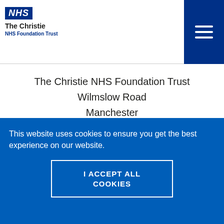[Figure (logo): NHS logo (blue badge with NHS text) and The Christie NHS Foundation Trust organisation name]
The Christie NHS Foundation Trust
Wilmslow Road
Manchester
M20 4BX
United Kingdom
This website uses cookies to ensure you get the best experience on our website.
I ACCEPT ALL COOKIES